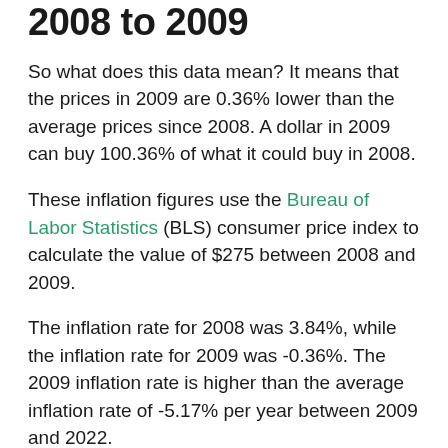2008 to 2009
So what does this data mean? It means that the prices in 2009 are 0.36% lower than the average prices since 2008. A dollar in 2009 can buy 100.36% of what it could buy in 2008.
These inflation figures use the Bureau of Labor Statistics (BLS) consumer price index to calculate the value of $275 between 2008 and 2009.
The inflation rate for 2008 was 3.84%, while the inflation rate for 2009 was -0.36%. The 2009 inflation rate is higher than the average inflation rate of -5.17% per year between 2009 and 2022.
USD Inflation Since 1913
The chart below shows the inflation rate from